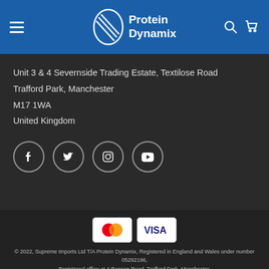Protein Dynamix
Unit 3 & 4 Severnside Trading Estate, Textilose Road
Trafford Park, Manchester
M17 1WA
United Kingdom
[Figure (other): Social media icons: Facebook, Twitter, Instagram, YouTube]
[Figure (other): Payment icons: Mastercard and Visa]
© 2022, Supreme Imports Ltd T/A Protein Dynamix, Registered in England and Wales under number 05292196, Registered office at 4 Beacon Road, Trafford Park, Manchester,